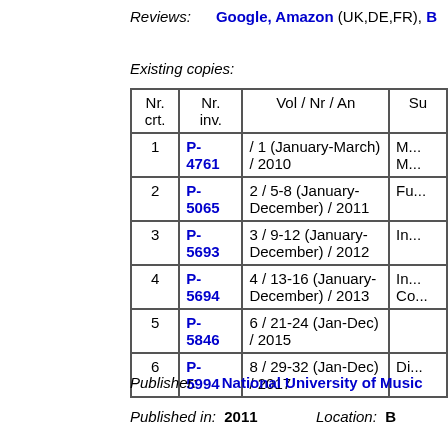Reviews: Google, Amazon (UK,DE,FR), B...
Existing copies:
| Nr. crt. | Nr. inv. | Vol / Nr / An | Su... |
| --- | --- | --- | --- |
| 1 | P-4761 | / 1 (January-March) / 2010 | M... M... |
| 2 | P-5065 | 2 / 5-8 (January-December) / 2011 | Fu... |
| 3 | P-5693 | 3 / 9-12 (January-December) / 2012 | In... |
| 4 | P-5694 | 4 / 13-16 (January-December) / 2013 | In... Co... |
| 5 | P-5846 | 6 / 21-24 (Jan-Dec) / 2015 |  |
| 6 | P-5994 | 8 / 29-32 (Jan-Dec) / 2017 | Di... |
Publisher: National University of Music
Published in: 2011    Location: B...